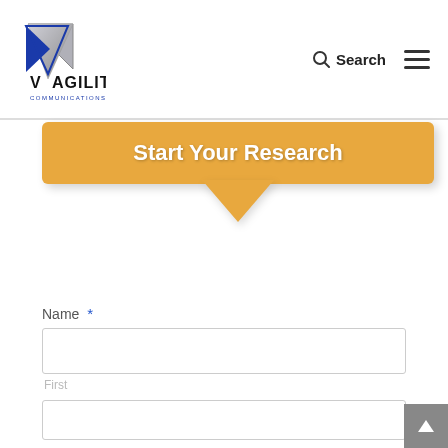[Figure (logo): Vagility Communications logo — stylized V arrow shape in blue and grey with text 'VAGILITY' in black and 'COMMUNICATIONS' in blue below]
Search
[Figure (illustration): Orange speech bubble / callout shape with bold white text 'Start Your Research' and a downward pointing triangular tail]
Name *
First